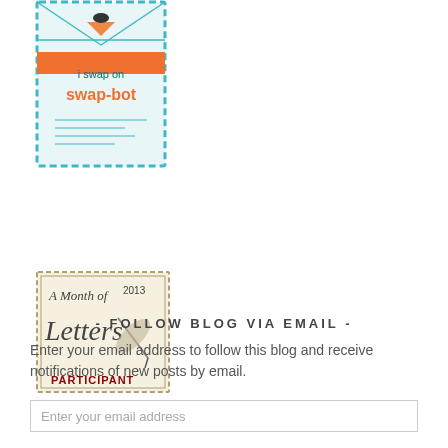[Figure (logo): Swap-bot badge: postal stamp style with teal dashed border, text 'i swap on swap-bot' in teal and orange]
[Figure (illustration): A Month of Letters 2013 PARTICIPANT badge: vintage stamp style with handwritten text, quill pen illustration, red PARTICIPANT text at bottom]
- FOLLOW BLOG VIA EMAIL -
Enter your email address to follow this blog and receive notifications of new posts by email.
Enter your email address